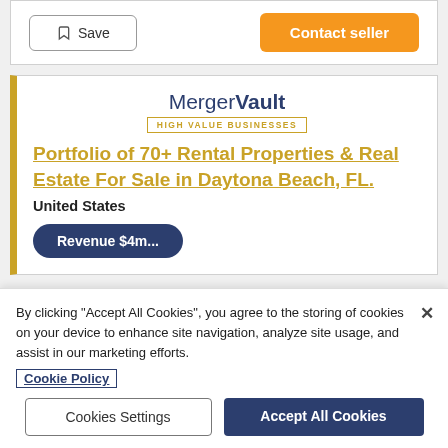[Figure (screenshot): Save and Contact seller buttons at top of page]
[Figure (logo): MergerVault logo with tagline HIGH VALUE BUSINESSES]
Portfolio of 70+ Rental Properties & Real Estate For Sale in Daytona Beach, FL.
United States
By clicking "Accept All Cookies", you agree to the storing of cookies on your device to enhance site navigation, analyze site usage, and assist in our marketing efforts.
Cookie Policy
Cookies Settings
Accept All Cookies